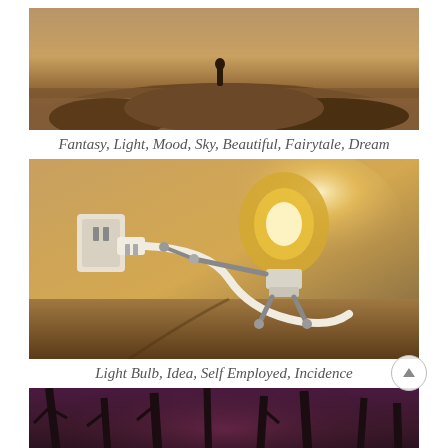[Figure (photo): Partial view of a fantasy landscape photo showing a person standing on rocky terrain under a dramatic sky, cropped at the top of the page.]
Fantasy, Light, Mood, Sky, Beautiful, Fairytale, Dream
[Figure (photo): A creative/surreal illustration of a humanoid robot made from a light bulb plugging itself into a wall socket, with warm glowing light emanating from the bulb head.]
Light Bulb, Idea, Self Employed, Incidence
[Figure (photo): Bottom portion of a dark, moody forest scene with bare trees and a pinkish-purple atmospheric glow, cropped at the bottom of the page.]